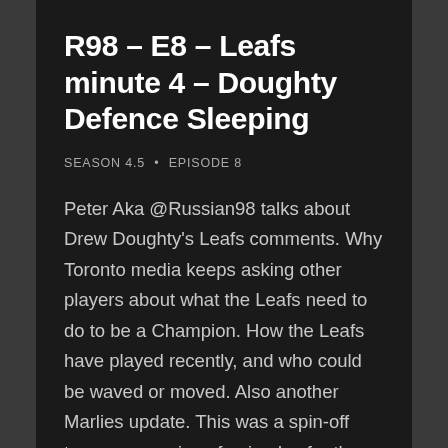R98 – E8 – Leafs minute 4 – Doughty Defence Sleeping
SEASON 4.5  •  EPISODE 8
Peter Aka @Russian98 talks about Drew Doughty's Leafs comments. Why Toronto media keeps asking other players about what the Leafs need to do to be a Champion. How the Leafs have played recently, and who could be waved or moved. Also another Marlies update. This was a spin-off temporary series of episodes for the 2019-2020...